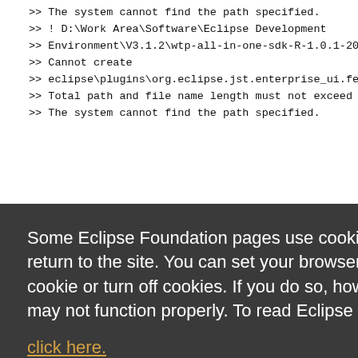>> The system cannot find the path specified.
>> ! D:\Work Area\Software\Eclipse Development
>> Environment\V3.1.2\wtp-all-in-one-sdk-R-1.0.1-200602171228
>> Cannot create
>> eclipse\plugins\org.eclipse.jst.enterprise_ui.feature.source _1.
>> Total path and file name length must not exceed 260 characte
>> The system cannot find the path specified.
Some Eclipse Foundation pages use cookies to better serve you when you return to the site. You can set your browser to notify you before you receive a cookie or turn off cookies. If you do so, however, some areas of some sites may not function properly. To read Eclipse Foundation Privacy Policy click here.
Decline
Allow cookies